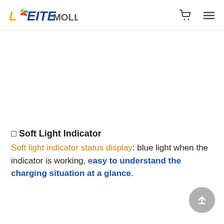LEITEMOLL
□ Soft Light Indicator
Soft light indicator status display: blue light when the indicator is working, easy to understand the charging situation at a glance.